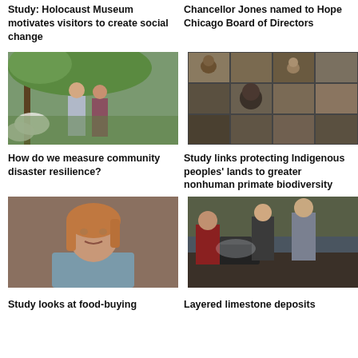Study: Holocaust Museum motivates visitors to create social change
Chancellor Jones named to Hope Chicago Board of Directors
[Figure (photo): Two researchers (man and woman) standing outdoors under blooming trees]
[Figure (photo): Collage of nonhuman primate photos including gorillas, monkeys, and other primates]
How do we measure community disaster resilience?
Study links protecting Indigenous peoples' lands to greater nonhuman primate biodiversity
[Figure (photo): Portrait of a woman with red-blonde hair wearing a light blue blazer]
[Figure (photo): Researchers working together around a microscope or equipment in a lab setting]
Study looks at food-buying
Layered limestone deposits